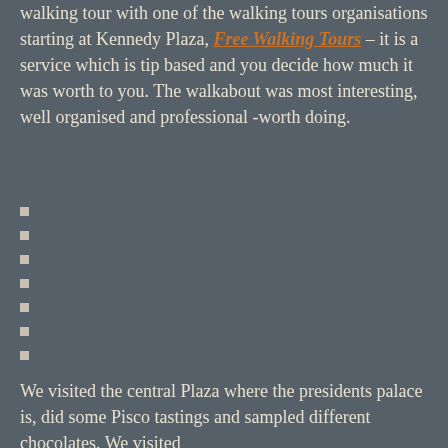walking tour with one of the walking tours organisations starting at Kennedy Plaza, Free Walking Tours – it is a service which is tip based and you decide how much it was worth to you. The walkabout was most interesting, well organised and professional -worth doing.
We visited  the central Plaza where the presidents palace is, did some Pisco tastings and sampled different chocolates. We visited